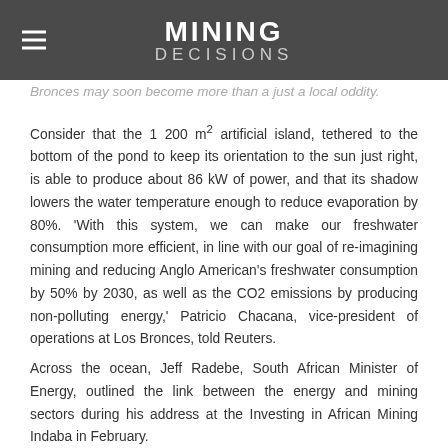MINING DECISIONS
Bronces may soon become more than a just a local oddity.
Consider that the 1 200 m² artificial island, tethered to the bottom of the pond to keep its orientation to the sun just right, is able to produce about 86 kW of power, and that its shadow lowers the water temperature enough to reduce evaporation by 80%. 'With this system, we can make our freshwater consumption more efficient, in line with our goal of re-imagining mining and reducing Anglo American's freshwater consumption by 50% by 2030, as well as the CO2 emissions by producing non-polluting energy,' Patricio Chacana, vice-president of operations at Los Bronces, told Reuters.
Across the ocean, Jeff Radebe, South African Minister of Energy, outlined the link between the energy and mining sectors during his address at the Investing in African Mining Indaba in February.